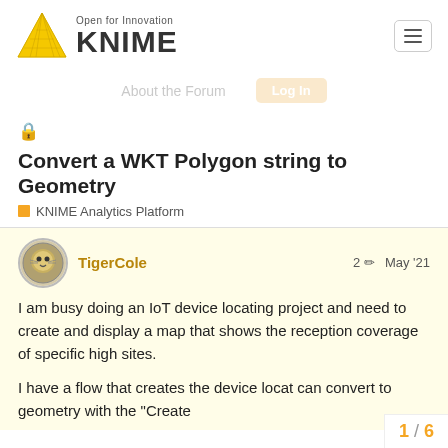Open for Innovation KNIME
About the Forum   Log In
🔒 Convert a WKT Polygon string to Geometry
KNIME Analytics Platform
TigerCole   2 ✏   May '21
I am busy doing an IoT device locating project and need to create and display a map that shows the reception coverage of specific high sites.
I have a flow that creates the device locat can convert to geometry with the "Create
1 / 6